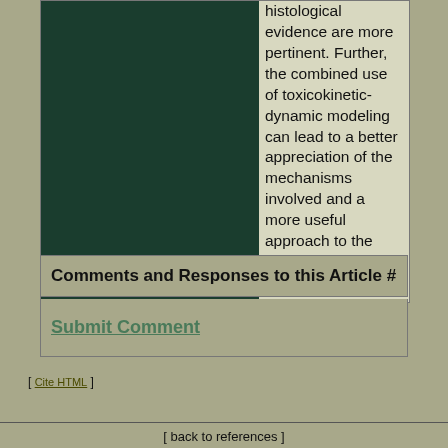[Figure (photo): Dark green/black image block on the left side of a two-column layout]
histological evidence are more pertinent. Further, the combined use of toxicokinetic-dynamic modeling can lead to a better appreciation of the mechanisms involved and a more useful approach to the calculation of safety margins.
Comments and Responses to this Article #
Submit Comment
[ Cite HTML ]
[ back to references ]